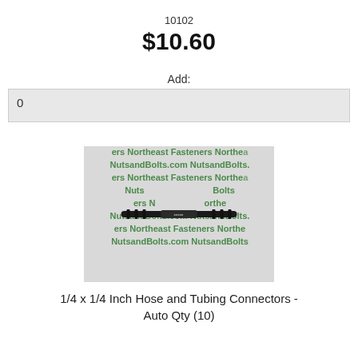10102
$10.60
Add:
0
[Figure (photo): A black plastic 1/4 x 1/4 inch hose and tubing barb connector fitting, shown on a watermarked background repeating 'Northeast Fasteners NutsandBolts.com' in green text.]
1/4 x 1/4 Inch Hose and Tubing Connectors - Auto Qty (10)